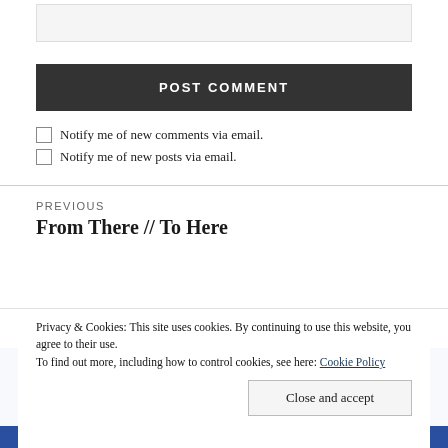WEBSITE (input field)
POST COMMENT
Notify me of new comments via email.
Notify me of new posts via email.
PREVIOUS
From There // To Here
Privacy & Cookies: This site uses cookies. By continuing to use this website, you agree to their use.
To find out more, including how to control cookies, see here: Cookie Policy
Close and accept